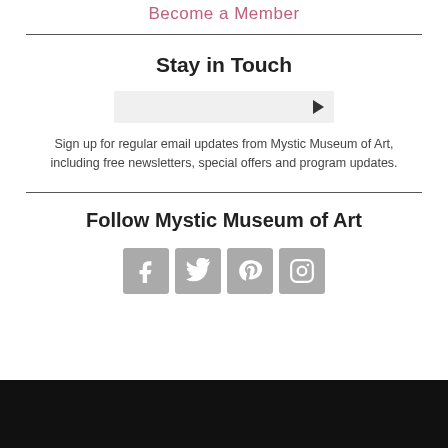Become a Member
Stay in Touch
Sign up for regular email updates from Mystic Museum of Art, including free newsletters, special offers and program updates.
Follow Mystic Museum of Art
[Figure (infographic): Social media icons: Facebook, Twitter, Pinterest, Instagram]